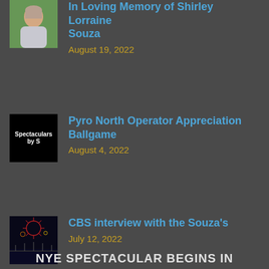[Figure (photo): Portrait photo of Shirley Lorraine Souza]
In Loving Memory of Shirley Lorraine Souza
August 19, 2022
[Figure (photo): Black image with white text reading Spectaculars by S]
Pyro North Operator Appreciation Ballgame
August 4, 2022
[Figure (photo): Night photo of fireworks over water with bridge]
CBS interview with the Souza's
July 12, 2022
NYE SPECTACULAR BEGINS IN